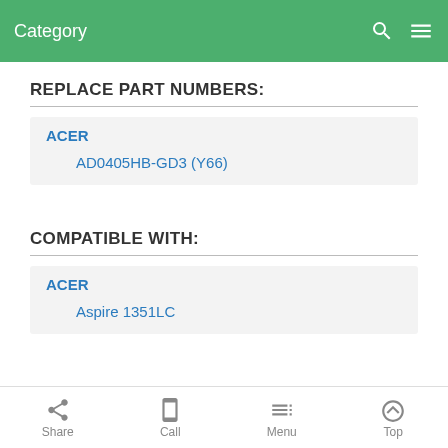Category
REPLACE PART NUMBERS:
ACER
AD0405HB-GD3 (Y66)
COMPATIBLE WITH:
ACER
Aspire 1351LC
Share  Call  Menu  Top